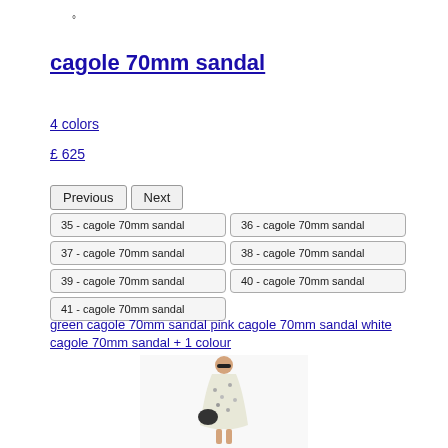°
cagole 70mm sandal
4 colors
£ 625
Previous  Next
| 35 - cagole 70mm sandal | 36 - cagole 70mm sandal |
| 37 - cagole 70mm sandal | 38 - cagole 70mm sandal |
| 39 - cagole 70mm sandal | 40 - cagole 70mm sandal |
| 41 - cagole 70mm sandal |  |
green cagole 70mm sandal pink cagole 70mm sandal white cagole 70mm sandal + 1 colour
[Figure (photo): A model wearing a floral dress and dark sunglasses, holding a black bag]